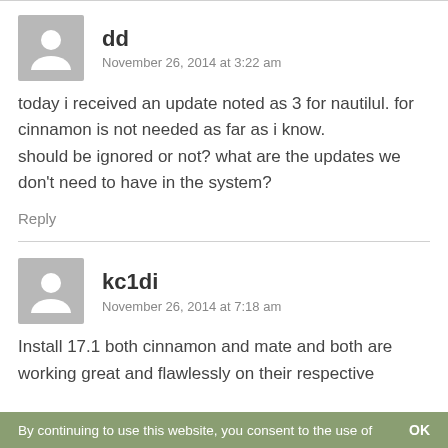dd
November 26, 2014 at 3:22 am
today i received an update noted as 3 for nautilul. for cinnamon is not needed as far as i know.
should be ignored or not? what are the updates we don't need to have in the system?
Reply
kc1di
November 26, 2014 at 7:18 am
Install 17.1 both cinnamon and mate and both are working great and flawlessly on their respective
By continuing to use this website, you consent to the use of   OK